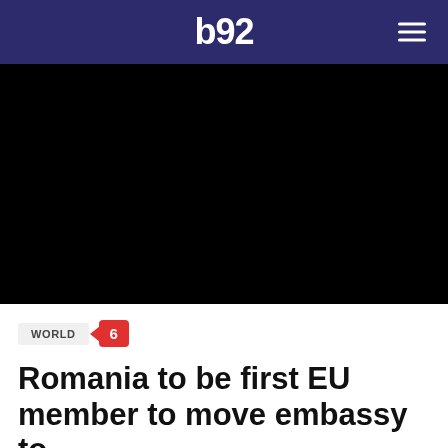b92
[Figure (photo): Black hero image placeholder for article about Romania moving embassy]
WORLD  6
Romania to be first EU member to move embassy to